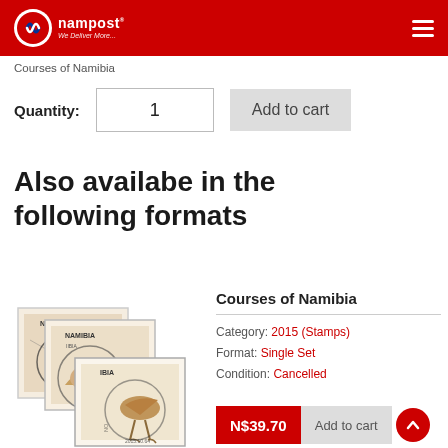NamPost - We Deliver More.
Courses of Namibia
Quantity: 1  Add to cart
Also availabe in the following formats
[Figure (photo): Cancelled postage stamps of Namibia showing birds, with ONDANGWA cancellation postmarks dated 2015.10.01]
Courses of Namibia
Category: 2015 (Stamps)
Format: Single Set
Condition: Cancelled
N$39.70  Add to cart